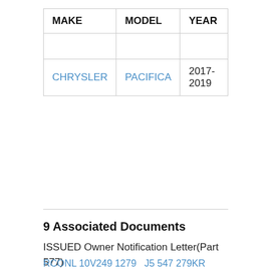| MAKE | MODEL | YEAR |
| --- | --- | --- |
|  |  |  |
| CHRYSLER | PACIFICA | 2017-2019 |
9 Associated Documents
ISSUED Owner Notification Letter(Part 577)
RCONL 10V249 1279   J5 547 279KR